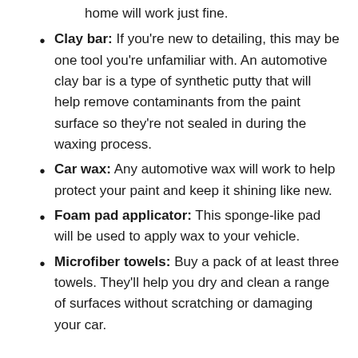home will work just fine.
Clay bar: If you're new to detailing, this may be one tool you're unfamiliar with. An automotive clay bar is a type of synthetic putty that will help remove contaminants from the paint surface so they're not sealed in during the waxing process.
Car wax: Any automotive wax will work to help protect your paint and keep it shining like new.
Foam pad applicator: This sponge-like pad will be used to apply wax to your vehicle.
Microfiber towels: Buy a pack of at least three towels. They'll help you dry and clean a range of surfaces without scratching or damaging your car.